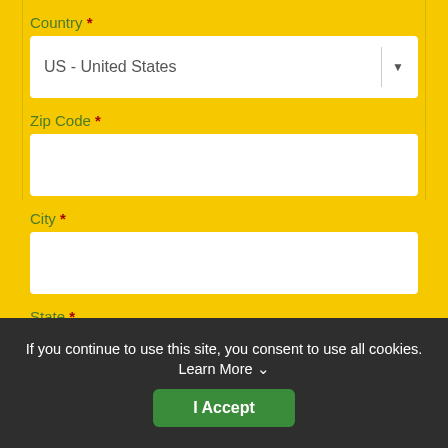Country *
US - United States
Zip Code *
City *
State *
If you continue to use this site, you consent to use all cookies. Learn More ∨
I Accept